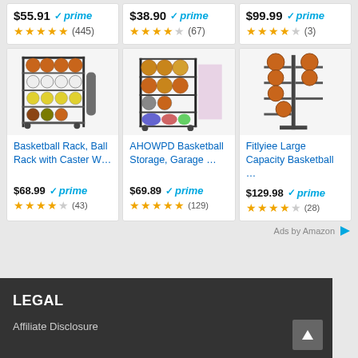[Figure (screenshot): Top row of Amazon ad cards (partial, cut off): $55.91 Prime 4.5 stars (445), $38.90 Prime 4 stars (67), $99.99 Prime 4 stars (3)]
[Figure (screenshot): Basketball Rack, Ball Rack with Caster W... - $68.99 Prime, 3.5 stars (43)]
[Figure (screenshot): AHOWPD Basketball Storage, Garage... - $69.89 Prime, 5 stars (129)]
[Figure (screenshot): Fitlyiee Large Capacity Basketball... - $129.98 Prime, 4 stars (28)]
Ads by Amazon
LEGAL
Affiliate Disclosure